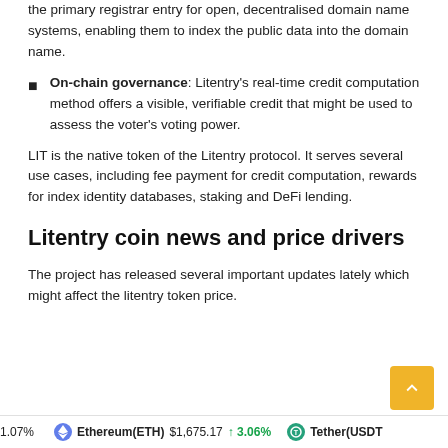the primary registrar entry for open, decentralised domain name systems, enabling them to index the public data into the domain name.
On-chain governance: Litentry's real-time credit computation method offers a visible, verifiable credit that might be used to assess the voter's voting power.
LIT is the native token of the Litentry protocol. It serves several use cases, including fee payment for credit computation, rewards for index identity databases, staking and DeFi lending.
Litentry coin news and price drivers
The project has released several important updates lately which might affect the litentry token price.
1.07%   Ethereum(ETH) $1,675.17 ↑ 3.06%   Tether(USDT)